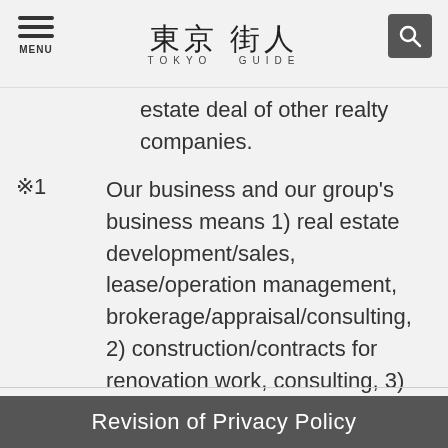東京街人 TOKYO GUIDE
estate deal of other realty companies.
※1 Our business and our group's business means 1) real estate development/sales, lease/operation management, brokerage/appraisal/consulting, 2) construction/contracts for renovation work, consulting, 3) development/sales of small-lot real estate/securitized real estate products, brokerage/consulting, 4) All other businesses that come under the purpose of our business.
Revision of Privacy Policy